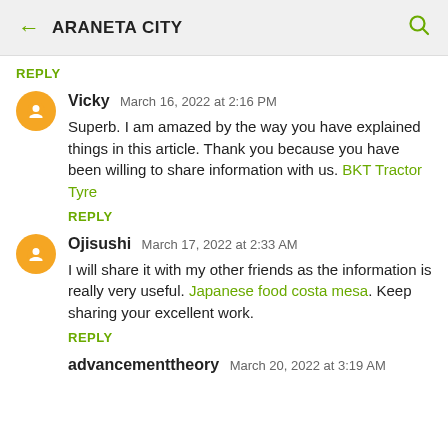ARANETA CITY
REPLY
Vicky  March 16, 2022 at 2:16 PM
Superb. I am amazed by the way you have explained things in this article. Thank you because you have been willing to share information with us. BKT Tractor Tyre
REPLY
Ojisushi  March 17, 2022 at 2:33 AM
I will share it with my other friends as the information is really very useful. Japanese food costa mesa. Keep sharing your excellent work.
REPLY
advancementtheory  March 20, 2022 at 3:19 AM